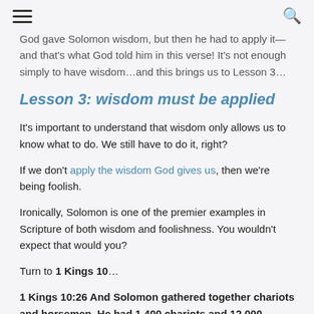≡  🔍
God gave Solomon wisdom, but then he had to apply it—and that's what God told him in this verse! It's not enough simply to have wisdom…and this brings us to Lesson 3…
Lesson 3: wisdom must be applied
It's important to understand that wisdom only allows us to know what to do. We still have to do it, right?
If we don't apply the wisdom God gives us, then we're being foolish.
Ironically, Solomon is one of the premier examples in Scripture of both wisdom and foolishness. You wouldn't expect that would you?
Turn to 1 Kings 10…
1 Kings 10:26 And Solomon gathered together chariots and horsemen. He had 1,400 chariots and 12,000 horsemen, whom he stationed in the chariot cities and…